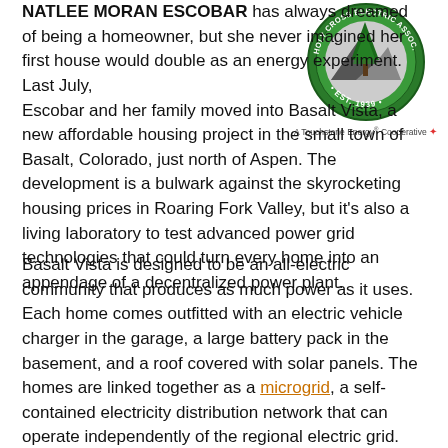[Figure (logo): Circular green and gray logo with a tree and mountains, 'EST. 1939' text around the border, with 'A Touchstone Energy Cooperative' tagline below]
NATLEE MORAN ESCOBAR has always dreamed of being a homeowner, but she never imagined her first house would double as an energy experiment. Last July, Escobar and her family moved into Basalt Vista, a new affordable housing project in the small town of Basalt, Colorado, just north of Aspen. The development is a bulwark against the skyrocketing housing prices in Roaring Fork Valley, but it's also a living laboratory to test advanced power grid technologies that could turn every home into an appendage of a decentralized power plant.
Basalt Vista is designed to be an all-electric community that produces as much power as it uses. Each home comes outfitted with an electric vehicle charger in the garage, a large battery pack in the basement, and a roof covered with solar panels. The homes are linked together as a microgrid, a self-contained electricity distribution network that can operate independently of the regional electric grid. Their energy systems work together to balance the energy load across the neighborhood—the solar panels harvest energy, plugged in EVs